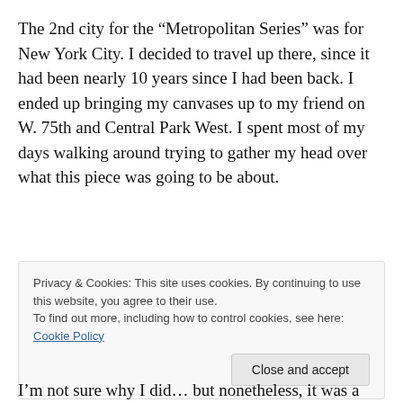The 2nd city for the “Metropolitan Series” was for New York City. I decided to travel up there, since it had been nearly 10 years since I had been back. I ended up bringing my canvases up to my friend on W. 75th and Central Park West. I spent most of my days walking around trying to gather my head over what this piece was going to be about.
Privacy & Cookies: This site uses cookies. By continuing to use this website, you agree to their use. To find out more, including how to control cookies, see here: Cookie Policy
Close and accept
I’m not sure why I did… but nonetheless, it was a culture